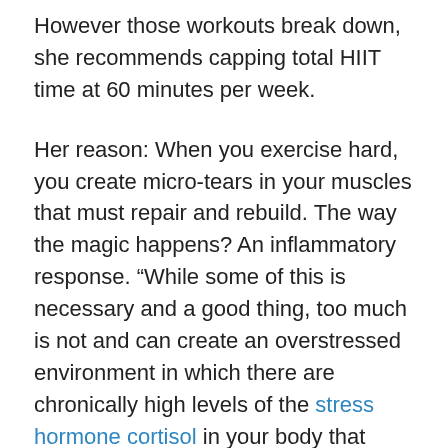However those workouts break down, she recommends capping total HIIT time at 60 minutes per week.
Her reason: When you exercise hard, you create micro-tears in your muscles that must repair and rebuild. The way the magic happens? An inflammatory response. “While some of this is necessary and a good thing, too much is not and can create an overstressed environment in which there are chronically high levels of the stress hormone cortisol in your body that causes you to lose muscle, retain fat, and lower your guard against illness and injury,” Sizemore suggests.